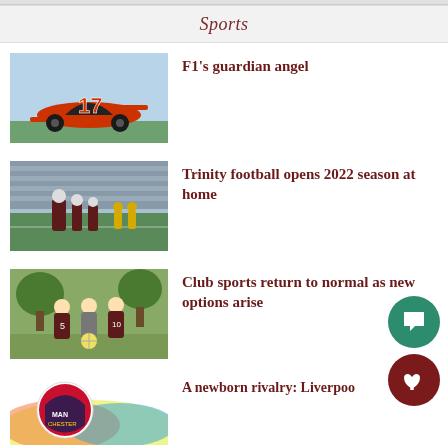Sports
[Figure (illustration): Illustration of a Formula 1 race car with number 17 in red and orange colors]
F1’s guardian angel
[Figure (photo): Football players standing on a field with bleachers in background, wearing maroon uniforms]
Trinity football opens 2022 season at home
[Figure (photo): Students in maroon sports jerseys holding a volleyball outdoors under trees]
Club sports return to normal as new options arise
[Figure (photo): Manchester city crest logo with colorful paint splash background]
A newborn rivalry: Liverpool